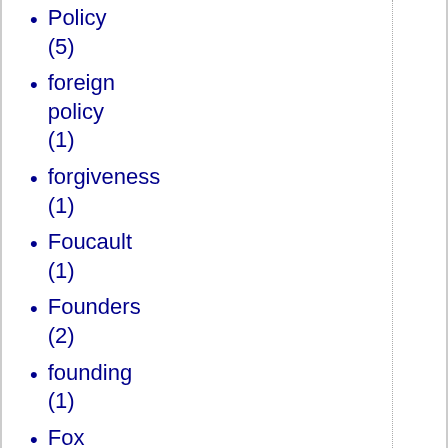Policy (5)
foreign policy (1)
forgiveness (1)
Foucault (1)
Founders (2)
founding (1)
Fox News (1)
fracking (1)
France (9)
Francis Bacon (1)
Francis Cianfrocca